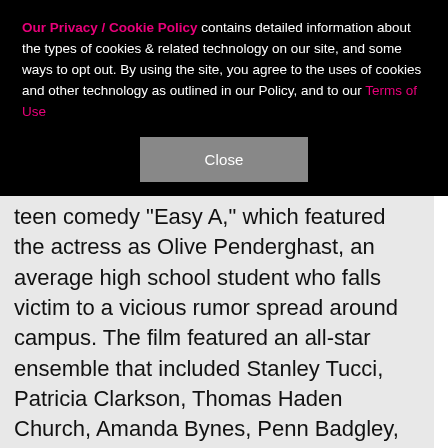Our Privacy / Cookie Policy contains detailed information about the types of cookies & related technology on our site, and some ways to opt out. By using the site, you agree to the uses of cookies and other technology as outlined in our Policy, and to our Terms of Use
Close
teen comedy "Easy A," which featured the actress as Olive Penderghast, an average high school student who falls victim to a vicious rumor spread around campus. The film featured an all-star ensemble that included Stanley Tucci, Patricia Clarkson, Thomas Haden Church, Amanda Bynes, Penn Badgley, Cam Gigandet, Lisa Kudrow, Aly Michalka and Malcolm McDowell and proved that Emma had become quite the box office draw: It brought in $75 million in ticket sales. "Easy A"
[Figure (infographic): SHE Partner Network advertisement banner with photo of woman, bullet points: Earning site & social revenue, Traffic growth, Speaking on our stages. Logo and Learn More button.]